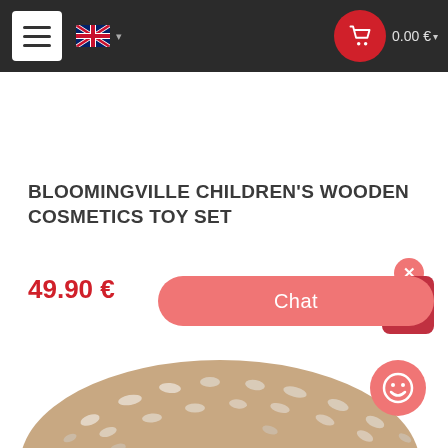[Figure (screenshot): E-commerce website navigation bar with hamburger menu, UK flag language selector, and shopping cart showing 0.00 €]
BLOOMINGVILLE CHILDREN'S WOODEN COSMETICS TOY SET
49.90 €
[Figure (screenshot): Live chat widget with close button (x), chat pill button, and smiley face icon]
[Figure (photo): Partial product image showing a round wooden cosmetics toy item with white dot pattern on beige/tan background]